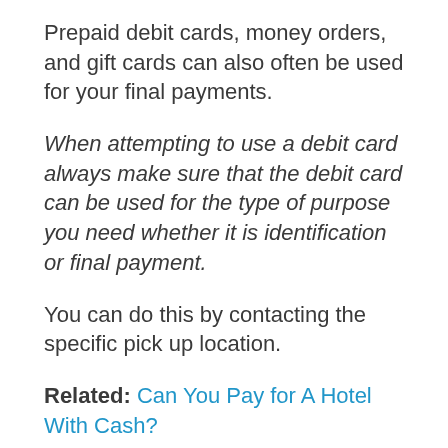Prepaid debit cards, money orders, and gift cards can also often be used for your final payments.
When attempting to use a debit card always make sure that the debit card can be used for the type of purpose you need whether it is identification or final payment.
You can do this by contacting the specific pick up location.
Related: Can You Pay for A Hotel With Cash?
Rental car companies that